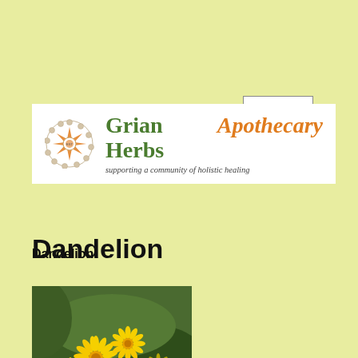MENU
[Figure (logo): Grian Herbs Apothecary logo banner with mandala icon, green and orange text, tagline: supporting a community of holistic healing]
Dandelion
[Figure (photo): Close-up photograph of yellow dandelion flowers in bloom against a green leafy background]